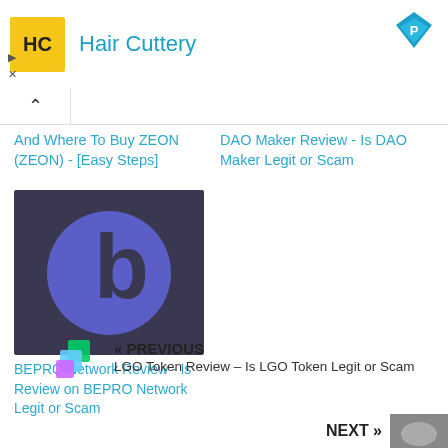[Figure (logo): Hair Cuttery advertisement banner with yellow logo, brand name in blue, and blue diamond icon top right]
And Where To Buy ZEON (ZEON) - [Easy Steps]
DAO Maker Review - Is DAO Maker Legit or Scam
[Figure (logo): BEPRO Network logo - dark circular background with blue circle and stylized 'b' letter mark]
BEPRO Network Review - Is Review on BEPRO Network Legit or Scam
« PREVIOUS
LGO Token Review – Is LGO Token Legit or Scam
NEXT »